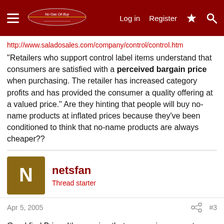Navigation header with hamburger menu, logo, Log in, Register, and search icons
http://www.saladosales.com/company/control/control.htm
"Retailers who support control label items understand that consumers are satisfied with a perceived bargain price when purchasing. The retailer has increased category profits and has provided the consumer a quality offering at a valued price." Are they hinting that people will buy no-name products at inflated prices because they've been conditioned to think that no-name products are always cheaper??
netsfan
Thread starter
Apr 5, 2005
#3
Good find Brian. It's amazing that companies can get away with this. By the way, the product was called "Road Tech" not "Road Power" as I initially wrote. I thought that this would be selling for about 59 cents, but I saw it ring up $2.99 each. At least it wasn't